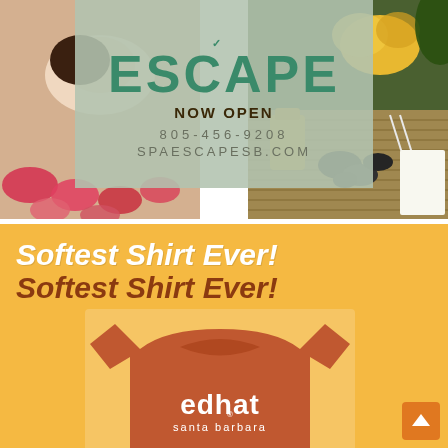[Figure (photo): Spa advertisement with collage of spa images (woman relaxing, flowers, massage stones, orchid) with centered text panel showing 'ESCAPE NOW OPEN' with phone and website details]
ESCAPE
NOW OPEN
805-456-9208
SPAESCAPESB.COM
[Figure (photo): Advertisement for Edhat Santa Barbara t-shirt showing rust/terracotta colored shirt with 'edhat santa barbara' logo in white, on orange/yellow background with text 'Softest Shirt Ever!' repeated twice]
Softest Shirt Ever!
Softest Shirt Ever!